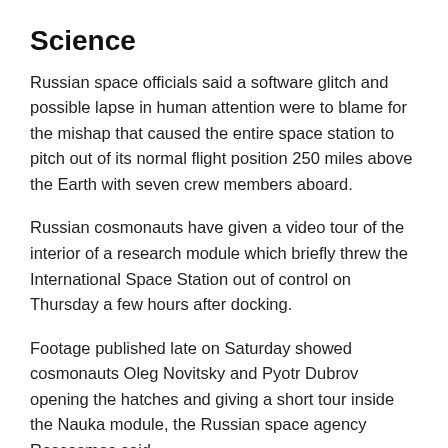Science
Russian space officials said a software glitch and possible lapse in human attention were to blame for the mishap that caused the entire space station to pitch out of its normal flight position 250 miles above the Earth with seven crew members aboard.
Russian cosmonauts have given a video tour of the interior of a research module which briefly threw the International Space Station out of control on Thursday a few hours after docking.
Footage published late on Saturday showed cosmonauts Oleg Novitsky and Pyotr Dubrov opening the hatches and giving a short tour inside the Nauka module, the Russian space agency Roscosmos said.